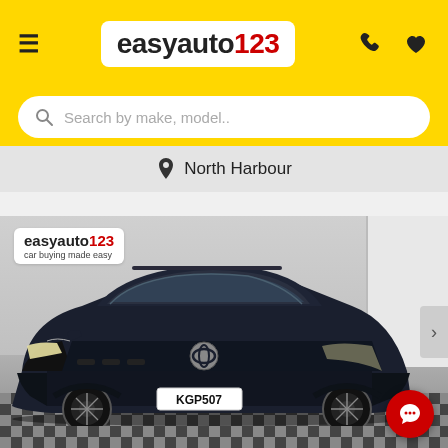easyauto123 – Navigation header with hamburger menu, logo, phone icon and heart icon
Search by make, model..
North Harbour
[Figure (photo): Toyota RAV4 SUV in dark grey/black colour displayed in an easyauto123 showroom with checkerboard floor, licence plate KGP507. The showroom wall shows the easyauto123 logo and tagline 'car buying made easy'.]